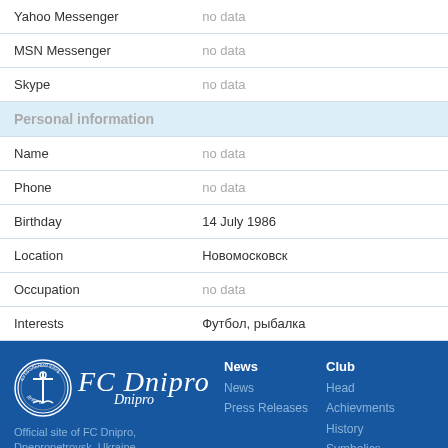| Field | Value |
| --- | --- |
| Yahoo Messenger | no data |
| MSN Messenger | no data |
| Skype | no data |
| Personal information |  |
| Name | no data |
| Phone | no data |
| Birthday | 14 July 1986 |
| Location | Новомосковск |
| Occupation | no data |
| Interests | Футбол, рыбалка |
[Figure (logo): FC Dnipro club logo — circular badge with ship anchor and team name, white on blue background]
FC Dnipro
Dnipro
Official site of FC Dnipro, Dnepropetrovsk, Ukraine
News
News
Press Releases
Club
Head
Achievments
History
Symbolics
Stadium
Advertising in Dnipro Arena
Training camp
"12th Player" Sho